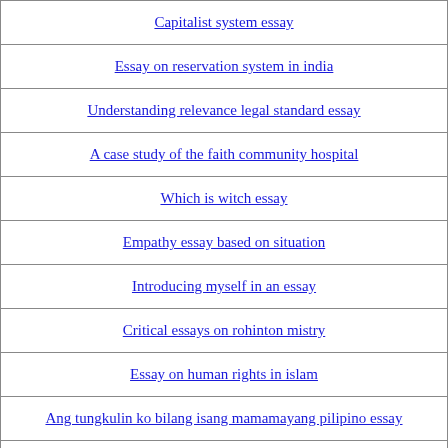| Capitalist system essay |
| Essay on reservation system in india |
| Understanding relevance legal standard essay |
| A case study of the faith community hospital |
| Which is witch essay |
| Empathy essay based on situation |
| Introducing myself in an essay |
| Critical essays on rohinton mistry |
| Essay on human rights in islam |
| Ang tungkulin ko bilang isang mamamayang pilipino essay |
| The role and significance of a spiritual leader in a community |